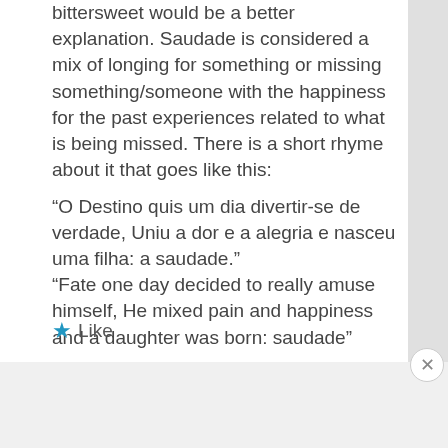bittersweet would be a better explanation. Saudade is considered a mix of longing for something or missing something/someone with the happiness for the past experiences related to what is being missed. There is a short rhyme about it that goes like this:
“O Destino quis um dia divertir-se de verdade, Uniu a dor e a alegria e nasceu uma filha: a saudade.”
“Fate one day decided to really amuse himself, He mixed pain and happiness and a daughter was born: saudade”
Like
[Figure (screenshot): DuckDuckGo advertisement banner with orange left panel saying 'Search, browse, and email with more privacy. All in One Free App' and dark right panel with DuckDuckGo duck logo]